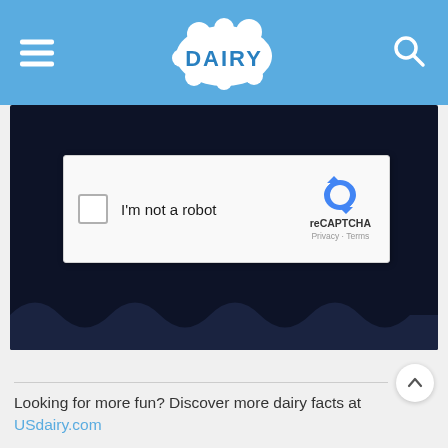DAIRY (logo/navigation bar)
[Figure (screenshot): Dark navy background area showing a reCAPTCHA widget with checkbox labeled 'I'm not a robot' and reCAPTCHA branding with Privacy and Terms links]
I'm not a robot
reCAPTCHA
Privacy · Terms
Looking for more fun? Discover more dairy facts at USdairy.com